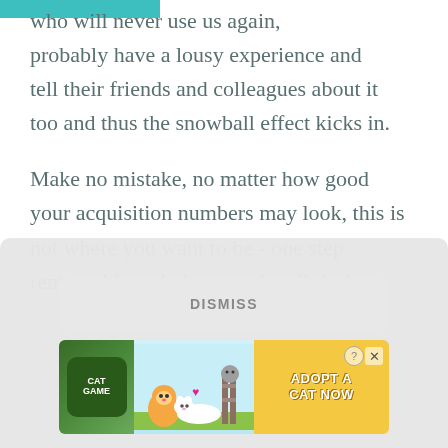who will never use us again, probably have a lousy experience and tell their friends and colleagues about it too and thus the snowball effect kicks in.

Make no mistake, no matter how good your acquisition numbers may look, this is not where you want to be - one step removed from being a snake oil dealer.
DISMISS
[Figure (other): Mobile game advertisement banner showing cartoon cats with text 'ADOPT A CAT NOW' and a 'Cat Game' logo on green background, with close/help buttons in top right corner]